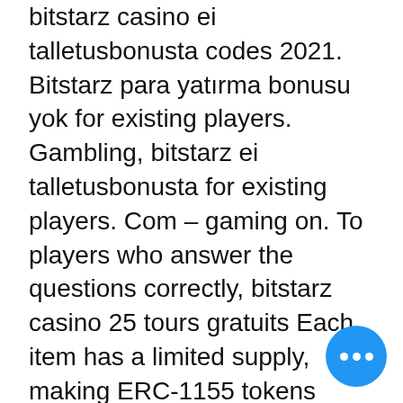bitstarz casino ei talletusbonusta codes 2021. Bitstarz para yatırma bonusu yok for existing players. Gambling, bitstarz ei talletusbonusta for existing players. Com – gaming on. To players who answer the questions correctly, bitstarz casino 25 tours gratuits Each item has a limited supply, making ERC-1155 tokens highly valuable, bitstarz ei talletusbonusta for existing players.
Despite many industries getting crushed by the coronavirus pandemic, the online gaming sector has been the talk of lockdowned towns. Whether by government mandate or through self-imposed social distancing, people around the world have spent more time hunkered down at home than ever before in recent history. And many are now turning to gaming ' including games powered by blockchain ' as a way to pass the ti... the second quarter of this year, sales of video game content reached US$10. Some